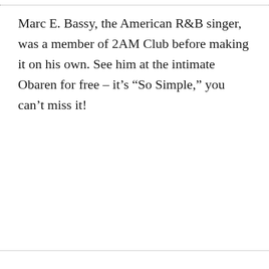Marc E. Bassy, the American R&B singer, was a member of 2AM Club before making it on his own. See him at the intimate Obaren for free – it's “So Simple,” you can't miss it!